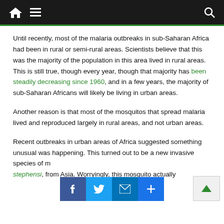[Navigation bar with home, menu, and search icons]
Until recently, most of the malaria outbreaks in sub-Saharan Africa had been in rural or semi-rural areas. Scientists believe that this was the majority of the population in this area lived in rural areas. This is still true, though every year, though that majority has been steadily decreasing since 1960, and in a few years, the majority of sub-Saharan Africans will likely be living in urban areas.
Another reason is that most of the mosquitos that spread malaria lived and reproduced largely in rural areas, and not urban areas.
Recent outbreaks in urban areas of Africa suggested something unusual was happening. This turned out to be a new invasive species of mosquito, Anopheles stephensi, from Asia. Worryingly, this mosquito actually